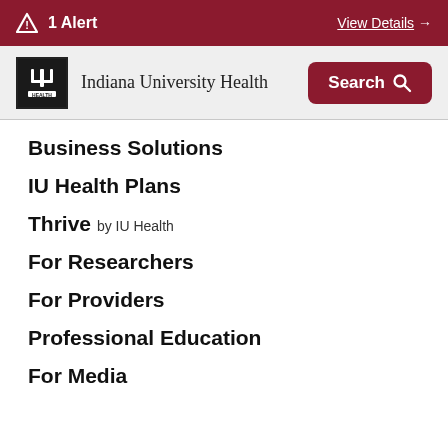1 Alert  View Details →
[Figure (logo): Indiana University Health logo with IU Health text and search button]
Business Solutions
IU Health Plans
Thrive by IU Health
For Researchers
For Providers
Professional Education
For Media